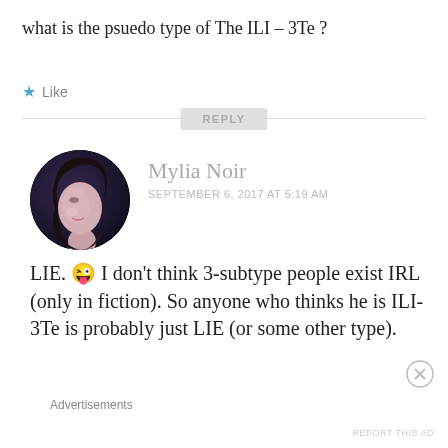what is the psuedo type of The ILI – 3Te ?
Like
REPLY
Mylia Noir
SEPTEMBER 6, 2017 AT 5:19 AM
LIE. 😜 I don't think 3-subtype people exist IRL (only in fiction). So anyone who thinks he is ILI-3Te is probably just LIE (or some other type).
Advertisements